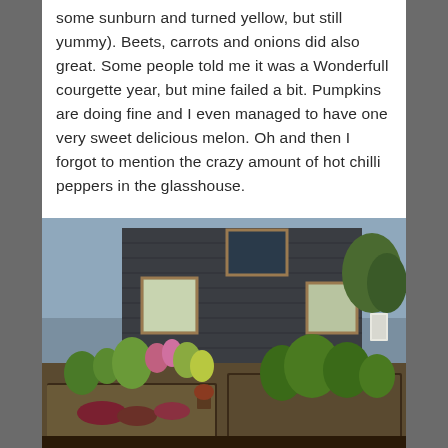some sunburn and turned yellow, but still yummy). Beets, carrots and onions did also great. Some people told me it was a Wonderfull courgette year, but mine failed a bit. Pumpkins are doing fine and I even managed to have one very sweet delicious melon. Oh and then I forgot to mention the crazy amount of hot chilli peppers in the glasshouse.
[Figure (photo): Outdoor garden with raised vegetable beds in front of a dark grey/black wooden house. Various green leafy plants, kale, flowers, and other vegetables growing in the beds. Blue sky visible in the background.]